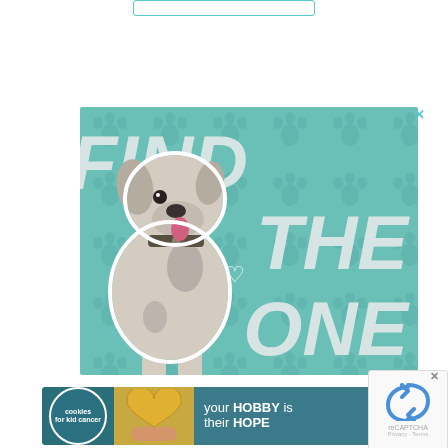[Figure (illustration): Top bar/tab UI element with teal border]
[Figure (illustration): Advertisement with teal background featuring a Great Dane dog and bold white italic text reading FIND THE ONE with a heart symbol]
[Figure (illustration): Bottom banner ad for Cookies for Kid Cancer with yellow heart cookie image and text: your HOBBY is their HOPE]